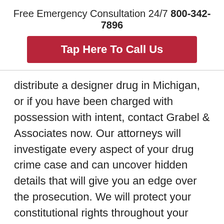Free Emergency Consultation 24/7 800-342-7896
Tap Here To Call Us
distribute a designer drug in Michigan, or if you have been charged with possession with intent, contact Grabel & Associates now. Our attorneys will investigate every aspect of your drug crime case and can uncover hidden details that will give you an edge over the prosecution. We will protect your constitutional rights throughout your case and ensure you are not wrongfully convicted.
We will also explore potential sentencing options, and we have the experience needed to obtain great results for clients in drug crime cases. If Michigan DUI attorneys help...